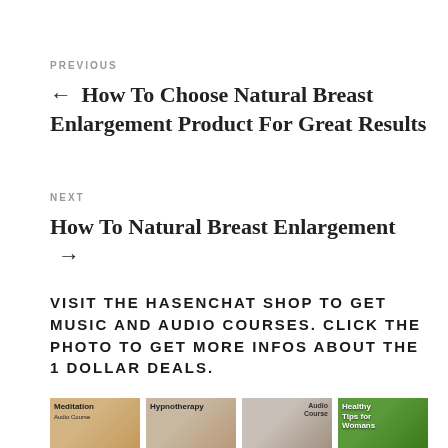PREVIOUS
← How To Choose Natural Breast Enlargement Product For Great Results
NEXT
How To Natural Breast Enlargement →
VISIT THE HASENCHAT SHOP TO GET MUSIC AND AUDIO COURSES. CLICK THE PHOTO TO GET MORE INFOS ABOUT THE 1 DOLLAR DEALS.
[Figure (photo): Four product thumbnail images: Meditation, Hypnotherapy, Audio Course, Healthy Tips for Womans]
[Figure (photo): Meditation audio course thumbnail]
[Figure (photo): Hypnotherapy thumbnail]
[Figure (photo): Audio Course thumbnail]
[Figure (photo): Healthy Tips for Womans thumbnail]